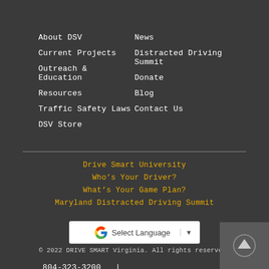About DSV
Current Projects
Outreach & Education
Resources
Traffic Safety Laws
DSV Store
News
Distracted Driving Summit
Donate
Blog
Contact Us
Drive Smart University
Who's Your Driver?
What's Your Game Plan?
Maryland Distracted Driving Summit
[Figure (screenshot): Google Translate Select Language widget]
© 2022 DRIVE SMART Virginia. All rights reserved.
804-323-3200  |  info@drivesmartva.org